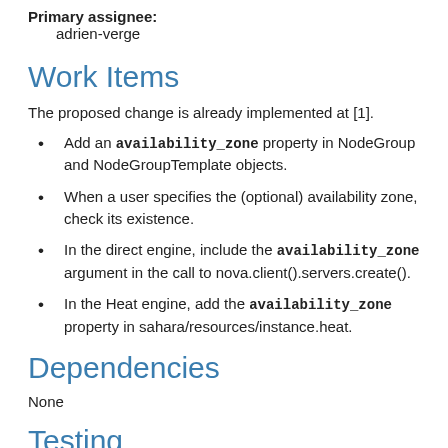Primary assignee: adrien-verge
Work Items
The proposed change is already implemented at [1].
Add an availability_zone property in NodeGroup and NodeGroupTemplate objects.
When a user specifies the (optional) availability zone, check its existence.
In the direct engine, include the availability_zone argument in the call to nova.client().servers.create().
In the Heat engine, add the availability_zone property in sahara/resources/instance.heat.
Dependencies
None
Testing